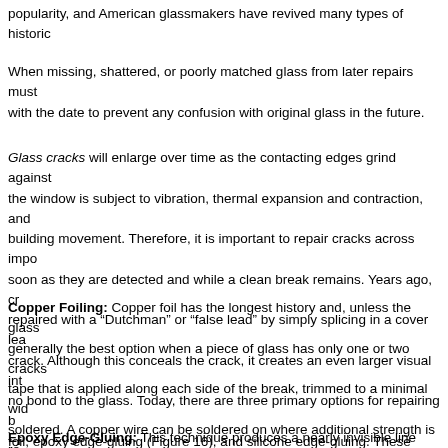popularity, and American glassmakers have revived many types of historic
When missing, shattered, or poorly matched glass from later repairs must with the date to prevent any confusion with original glass in the future.
Glass cracks will enlarge over time as the contacting edges grind against the window is subject to vibration, thermal expansion and contraction, and building movement. Therefore, it is important to repair cracks across impo soon as they are detected and while a clean break remains. Years ago, cr repaired with a “Dutchman” or “false lead” by simply splicing in a cover lea crack. Although this conceals the crack, it creates an even larger visual int no bond to the glass. Today, there are three primary options for repairing b foil, epoxy edge-gluing (Figure 16), and silicone edge-gluing. These techn strength, reversibility, and visual effect, and the appropriate repair must be by-case basis by a restoration specialist.
Copper Foiling: Copper foil has the longest history and, unless the glass generally the best option when a piece of glass has only one or two cracks tape that is applied along each side of the break, trimmed to a minimal wid soldered. A copper wire can be soldered on where additional strength is re since heat is required that can cause further damage. Copper foil produce 1/16” [1.6mm] wide line).
Epoxy Edge-Gluing: This technique produces a nearly invisible line and